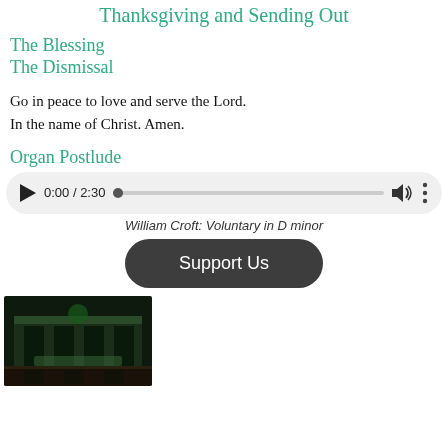Thanksgiving and Sending Out
The Blessing
The Dismissal
Go in peace to love and serve the Lord.
In the name of Christ. Amen.
Organ Postlude
[Figure (other): Audio player showing 0:00 / 2:30 with play button, progress bar, volume icon, and more options icon]
William Croft: Voluntary in D minor
[Figure (other): Dark green button labeled 'Support Us']
[Figure (photo): Interior photo of a church with green-lit pews and checkered floor]